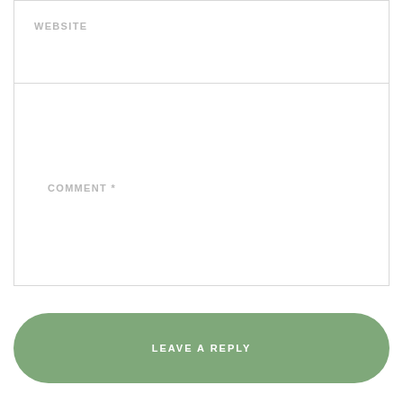WEBSITE
COMMENT *
LEAVE A REPLY
ABOUT ME